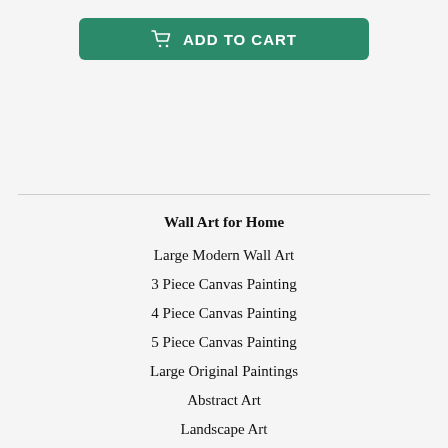[Figure (other): Green 'ADD TO CART' button with shopping cart icon]
Wall Art for Home
Large Modern Wall Art
3 Piece Canvas Painting
4 Piece Canvas Painting
5 Piece Canvas Painting
Large Original Paintings
Abstract Art
Landscape Art